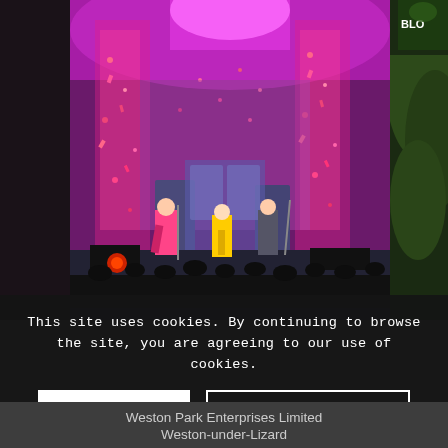[Figure (photo): Concert stage photo with performers in colorful outfits (pink, yellow) against a backdrop of pink/magenta confetti and dramatic stage lighting. Large LED screens and balloons/confetti cannons visible. Crowd silhouetted in foreground.]
This site uses cookies. By continuing to browse the site, you are agreeing to our use of cookies.
OK
Learn more
Weston Park Enterprises Limited
Weston-under-Lizard